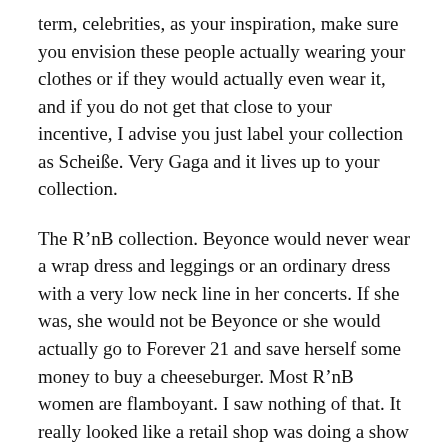term, celebrities, as your inspiration, make sure you envision these people actually wearing your clothes or if they would actually even wear it, and if you do not get that close to your incentive, I advise you just label your collection as Scheiße. Very Gaga and it lives up to your collection.
The R'nB collection. Beyonce would never wear a wrap dress and leggings or an ordinary dress with a very low neck line in her concerts. If she was, she would not be Beyonce or she would actually go to Forever 21 and save herself some money to buy a cheeseburger. Most R'nB women are flamboyant. I saw nothing of that. It really looked like a retail shop was doing a show that night.
A collection has to compose of different looking pieces. Not the same dress recycled over and over again. I do not know who these designers are trying to please. The